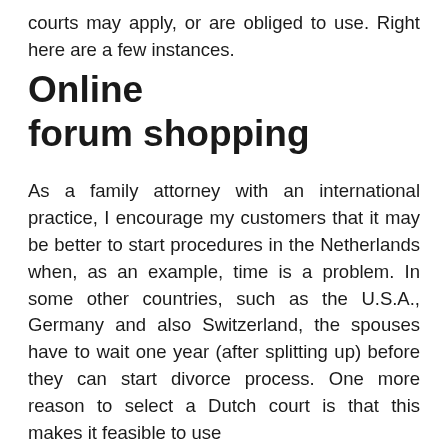courts may apply, or are obliged to use. Right here are a few instances.
Online forum shopping
As a family attorney with an international practice, I encourage my customers that it may be better to start procedures in the Netherlands when, as an example, time is a problem. In some other countries, such as the U.S.A., Germany and also Switzerland, the spouses have to wait one year (after splitting up) before they can start divorce process. One more reason to select a Dutch court is that this makes it feasible to use